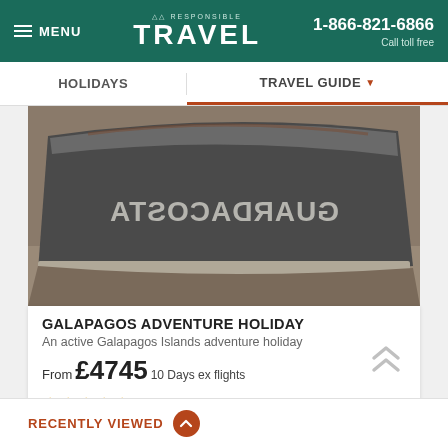MENU | RESPONSIBLE TRAVEL | 1-866-821-6866 Call toll free
HOLIDAYS | TRAVEL GUIDE
[Figure (photo): Upside-down weathered boat hull with painted text reading 'GUARDACOSTA' reversed, resting on sandy/rocky ground]
GALAPAGOS ADVENTURE HOLIDAY
An active Galapagos Islands adventure holiday
From £4745 10 Days ex flights
(15 Reviews)
RECENTLY VIEWED